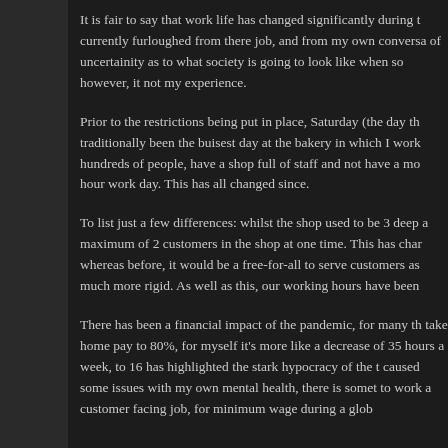It is fair to say that work life has changed significantly during t currently furloughed from there job, and from my own conversa of uncertainity as to what society is going to look like when so however, it not my experience.
Prior to the restrictions being put in place, Saturday (the day th traditionally been the buisest day at the bakery in which I work hundreds of people, have a shop full of staff and not have a mo hour work day. This has all changed since.
To list just a few differences: whilst the shop used to be 3 deep a maximum of 2 customers in the shop at one time. This has char whereas before, it would be a free-for-all to serve customers as much more rigid. As well as this, our working hours have been
There has been a financial impact of the pandemic, for many th take home pay to 80%, for myself it's more like a decrease of 35 hours a week, to 16 has highlighted the stark hypocracy of the t caused some issues with my own mental health, there is somet to work a customer facing job, for minimum wage during a glob